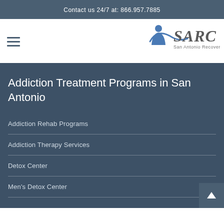Contact us 24/7 at: 866.957.7885
[Figure (logo): SARC San Antonio Recovery Center logo with stylized figure]
Addiction Treatment Programs in San Antonio
Addiction Rehab Programs
Addiction Therapy Services
Detox Center
Men's Detox Center